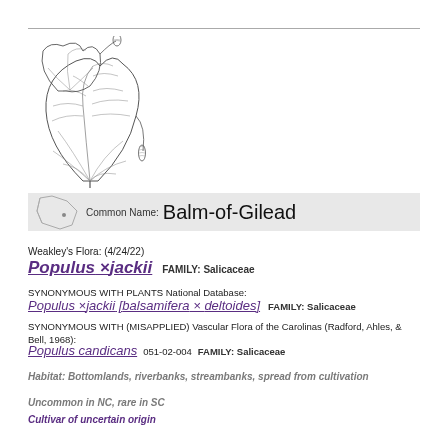[Figure (illustration): Botanical line drawing of Populus xjackii leaves and catkins in black and white ink]
Common Name: Balm-of-Gilead
Weakley's Flora: (4/24/22)
Populus ×jackii   FAMILY: Salicaceae
SYNONYMOUS WITH PLANTS National Database:
Populus ×jackii [balsamifera × deltoides]   FAMILY: Salicaceae
SYNONYMOUS WITH (MISAPPLIED) Vascular Flora of the Carolinas (Radford, Ahles, & Bell, 1968):
Populus candicans 051-02-004  FAMILY: Salicaceae
Habitat: Bottomlands, riverbanks, streambanks, spread from cultivation
Uncommon in NC, rare in SC
Cultivar of uncertain origin